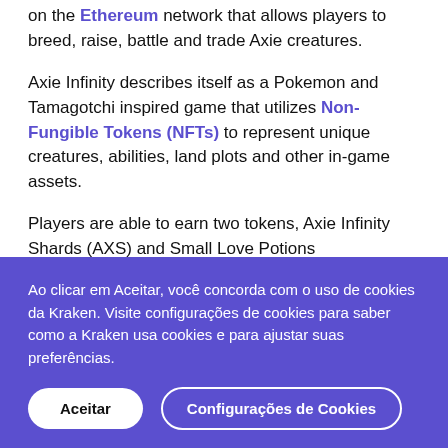on the Ethereum network that allows players to breed, raise, battle and trade Axie creatures.
Axie Infinity describes itself as a Pokemon and Tamagotchi inspired game that utilizes Non-Fungible Tokens (NFTs) to represent unique creatures, abilities, land plots and other in-game assets.
Players are able to earn two tokens, Axie Infinity Shards (AXS) and Small Love Potions
Ao clicar em Aceitar, você concorda com o uso de cookies da Kraken. Visite configurações de cookies para saber como a Kraken usa cookies e para ajustar suas preferências.